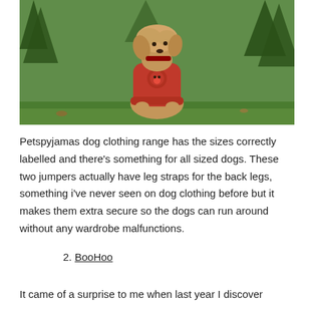[Figure (photo): A dog wearing a red Christmas jumper/sweater with a reindeer motif, sitting on green grass with trees in the background.]
Petspyjamas dog clothing range has the sizes correctly labelled and there's something for all sized dogs. These two jumpers actually have leg straps for the back legs, something i've never seen on dog clothing before but it makes them extra secure so the dogs can run around without any wardrobe malfunctions.
2. BooHoo
It came of a surprise to me when last year I discover